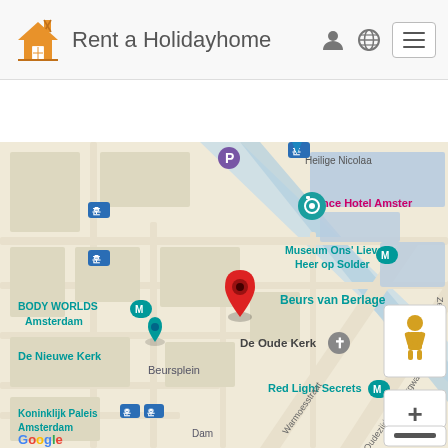[Figure (screenshot): Rent a Holidayhome website header with orange house logo, site name, and navigation icons (user, globe, hamburger menu)]
[Figure (screenshot): Navigation bar with icons: back arrow, home, calendar, signpost, camera, quote, book, envelope]
[Figure (map): Google Maps screenshot showing Amsterdam city center area with landmarks: Body Worlds Amsterdam, Museum Ons Lieve Heer op Solder, Beurs van Berlage, De Oude Kerk, De Nieuwe Kerk, Red Light Secrets, France Hotel Amsterdam, Beursplein, Koninklijk Paleis Amsterdam. A red location pin is placed near Beurs van Berlage. Map controls show pegman and zoom +/- buttons.]